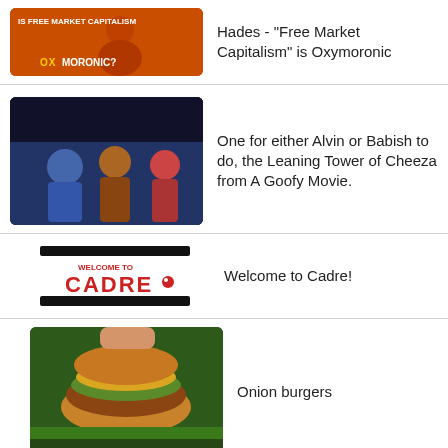Hades - "Free Market Capitalism" is Oxymoronic
One for either Alvin or Babish to do, the Leaning Tower of Cheeza from A Goofy Movie.
Welcome to Cadre!
Onion burgers
grilled cheese and tomato soup on the grill